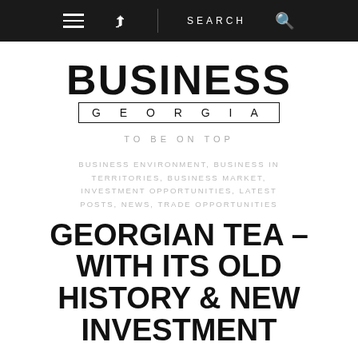≡  ↗  SEARCH 🔍
[Figure (logo): Business Georgia logo with BUSINESS in large bold black text above and GEORGIA in spaced uppercase letters inside a rectangle border]
TO BE ON TOP
BUSINESS ENVIRONMENT, BUSINESS IN TERRITORIES, BUSINESS MARKET, INVESTMENT OPPORTUNITIES, LATEST POSTS, NEWS, TRADE OPPORTUNITIES
GEORGIAN TEA – WITH ITS OLD HISTORY & NEW INVESTMENT